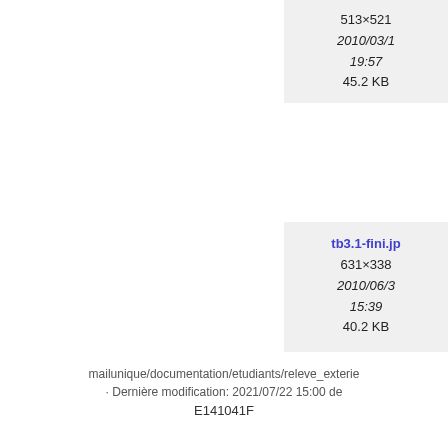[Figure (other): File thumbnail card (top) showing image dimensions 513×521, date 2010/03/1 19:57, size 45.2 KB]
[Figure (other): File thumbnail card (bottom) with link tb3.1-fini.jp, dimensions 631×338, date 2010/06/3 15:39, size 40.2 KB]
mailunique/documentation/etudiants/releve_exterie · Dernière modification: 2021/07/22 15:00 de E141041F